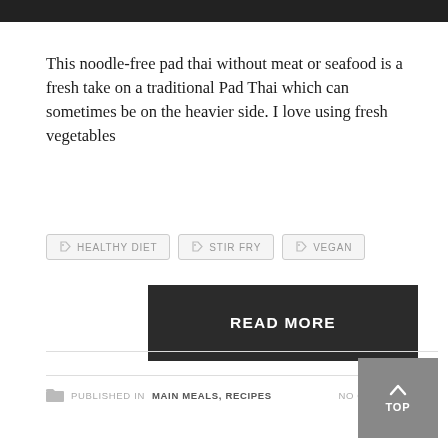[Figure (photo): Top portion of a food photo (cropped), dark background strip visible]
This noodle-free pad thai without meat or seafood is a fresh take on a traditional Pad Thai which can sometimes be on the heavier side. I love using fresh vegetables
HEALTHY DIET
STIR FRY
VEGAN
READ MORE
PUBLISHED IN MAIN MEALS, RECIPES   NO COMMENTS
TOP